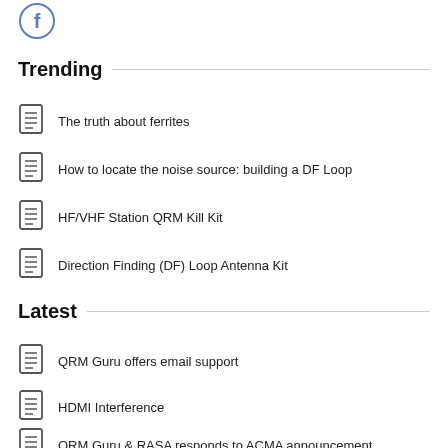[Figure (logo): Facebook-style 'f' logo circle icon, blue outline]
Trending
The truth about ferrites
How to locate the noise source: building a DF Loop
HF/VHF Station QRM Kill Kit
Direction Finding (DF) Loop Antenna Kit
Latest
QRM Guru offers email support
HDMI Interference
QRM Guru & RASA responds to ACMA announcement
QRM Guru News Update